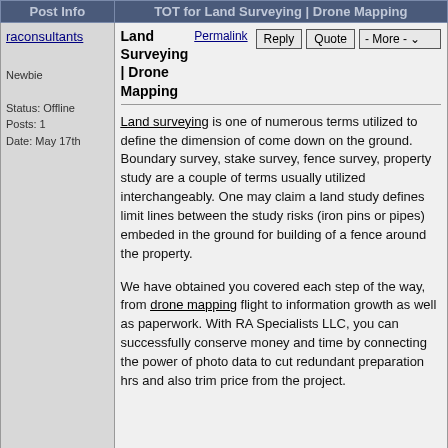Post Info | TOT for Land Surveying | Drone Mapping
raconsultants
Newbie
Status: Offline
Posts: 1
Date: May 17th
Land Surveying | Drone Mapping
Land surveying is one of numerous terms utilized to define the dimension of come down on the ground. Boundary survey, stake survey, fence survey, property study are a couple of terms usually utilized interchangeably. One may claim a land study defines limit lines between the study risks (iron pins or pipes) embeded in the ground for building of a fence around the property.
We have obtained you covered each step of the way, from drone mapping flight to information growth as well as paperwork. With RA Specialists LLC, you can successfully conserve money and time by connecting the power of photo data to cut redundant preparation hrs and also trim price from the project.
ShirleyAmbrose